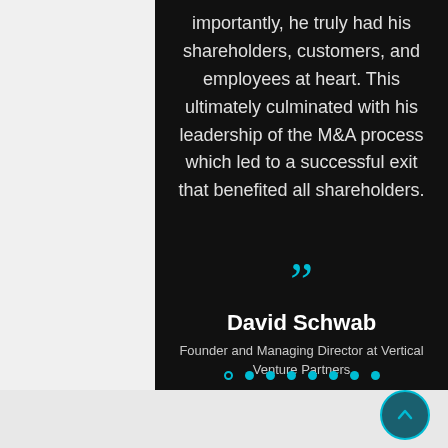importantly, he truly had his shareholders, customers, and employees at heart. This ultimately culminated with his leadership of the M&A process which led to a successful exit that benefited all shareholders.
[Figure (other): Large cyan closing quotation marks decorative element]
David Schwab
Founder and Managing Director at Vertical Venture Partners
[Figure (other): Carousel navigation dots: one open circle followed by seven filled cyan circles]
[Figure (other): Back-to-top button: circular teal button with upward chevron arrow]